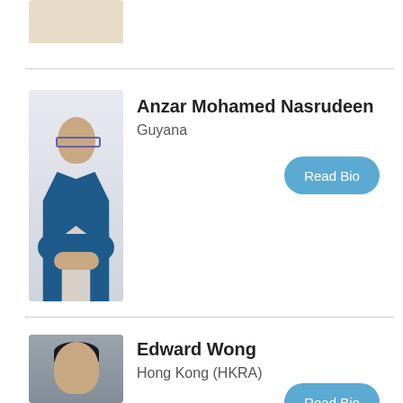[Figure (photo): Partial photo of a person in a beige coat, cropped at top]
Anzar Mohamed Nasrudeen
Guyana
[Figure (photo): Photo of Anzar Mohamed Nasrudeen, a man in a blue suit with glasses, seated at a table]
Read Bio
Edward Wong
Hong Kong (HKRA)
[Figure (photo): Partial photo of Edward Wong, a man with dark hair, cropped at bottom]
Read Bio